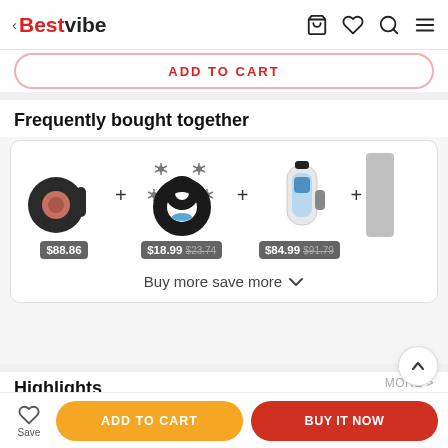< Bestvibe
ADD TO CART
Frequently bought together
[Figure (screenshot): Three product images shown side by side with plus signs between them. Product 1: $88.86, Product 2: $18.99 (was $23.74), Product 3: $84.99 (was $91.79), plus a partially visible fourth item.]
Buy more save more ∨
Highlights
MORE >
ADD TO CART
BUY IT NOW